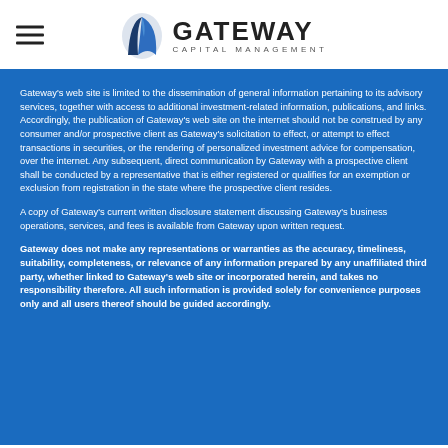[Figure (logo): Gateway Capital Management logo with a stylized blue sail/shield icon and company name]
Gateway's web site is limited to the dissemination of general information pertaining to its advisory services, together with access to additional investment-related information, publications, and links. Accordingly, the publication of Gateway's web site on the internet should not be construed by any consumer and/or prospective client as Gateway's solicitation to effect, or attempt to effect transactions in securities, or the rendering of personalized investment advice for compensation, over the internet. Any subsequent, direct communication by Gateway with a prospective client shall be conducted by a representative that is either registered or qualifies for an exemption or exclusion from registration in the state where the prospective client resides.
A copy of Gateway's current written disclosure statement discussing Gateway's business operations, services, and fees is available from Gateway upon written request.
Gateway does not make any representations or warranties as the accuracy, timeliness, suitability, completeness, or relevance of any information prepared by any unaffiliated third party, whether linked to Gateway's web site or incorporated herein, and takes no responsibility therefore. All such information is provided solely for convenience purposes only and all users thereof should be guided accordingly.